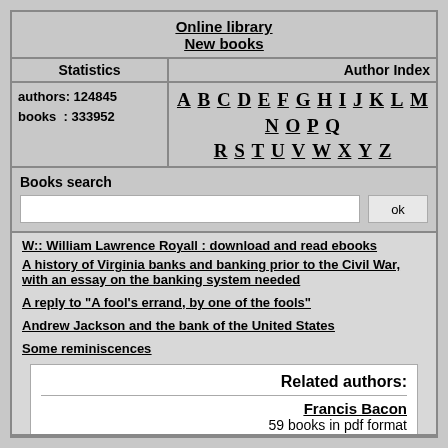Online library
New books
Statistics
authors: 124845
books   : 333952
Author Index
A B C D E F G H I J K L M N O P Q R S T U V W X Y Z
Books search
W:: William Lawrence Royall : download and read ebooks
A history of Virginia banks and banking prior to the Civil War, with an essay on the banking system needed
A reply to "A fool's errand, by one of the fools"
Andrew Jackson and the bank of the United States
Some reminiscences
Related authors:
Francis Bacon
59 books in pdf format